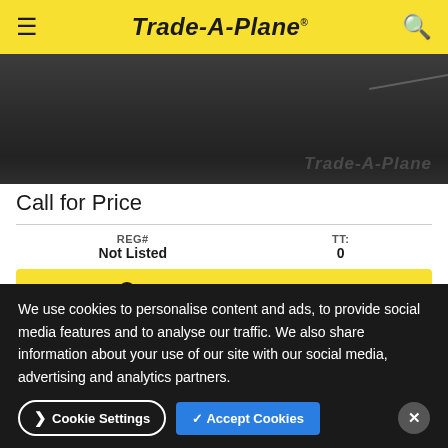Trade-A-Plane
[Figure (photo): Dark aircraft/tarmac photo with Trade-A-Plane watermark]
Call for Price
| REG# | TT: |
| --- | --- |
| Not Listed | 0 |
PERFORMANCE SPECS
Confirmed 2022 Robinson Raven II delivery in December 2022, We also have confirmed production slots for February 2023 and May 2023 More
We use cookies to personalise content and ads, to provide social media features and to analyse our traffic. We also share information about your use of our site with our social media, advertising and analytics partners.